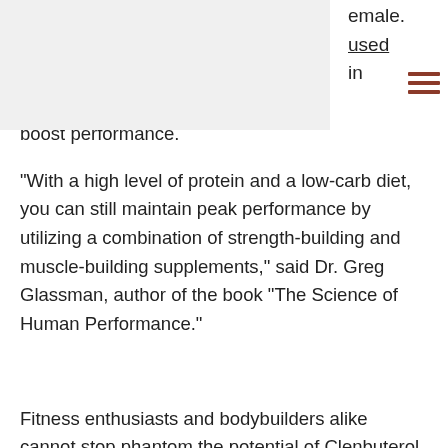emale. used in
boost performance.
"With a high level of protein and a low-carb diet, you can still maintain peak performance by utilizing a combination of strength-building and muscle-building supplements," said Dr. Greg Glassman, author of the book "The Science of Human Performance."
Fitness enthusiasts and bodybuilders alike cannot stop phantom the potential of Clenbuterol as a weight loss steroidfor long periods.
Clenbuterol is an amino acid analogue of